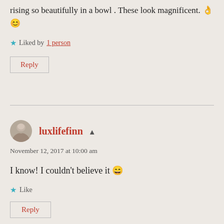rising so beautifully in a bowl . These look magnificent. 👌😊
★ Liked by 1 person
Reply
luxlifefinn ▲
November 12, 2017 at 10:00 am
I know! I couldn't believe it 😄
★ Like
Reply